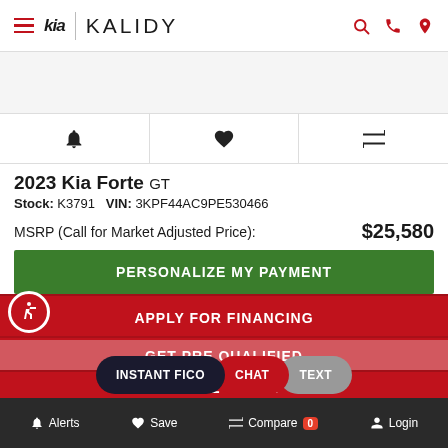Kia Kalidy - Navigation header with hamburger menu, Kia logo, Kalidy brand name, search, phone, and location icons
[Figure (photo): Vehicle image area (partially visible white area, image cropped)]
| Bell icon | Heart icon | Compare icon |
2023 Kia Forte GT
Stock: K3791  VIN: 3KPF44AC9PE530466
MSRP (Call for Market Adjusted Price): $25,580
PERSONALIZE MY PAYMENT
APPLY FOR FINANCING
GET PRE QUALIFIED
VALUE TRADE
INSTANT FICO  CHAT  TEXT
Alerts  Save  Compare 0  Login